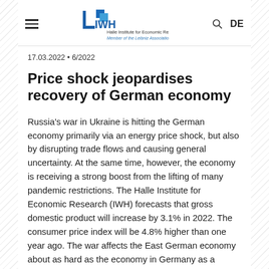IWH – Halle Institute for Economic Research · Member of the Leibniz Association
17.03.2022 • 6/2022
Price shock jeopardises recovery of German economy
Russia's war in Ukraine is hitting the German economy primarily via an energy price shock, but also by disrupting trade flows and causing general uncertainty. At the same time, however, the economy is receiving a strong boost from the lifting of many pandemic restrictions. The Halle Institute for Economic Research (IWH) forecasts that gross domestic product will increase by 3.1% in 2022. The consumer price index will be 4.8% higher than one year ago. The war affects the East German eco-nomy about as hard as the economy in Germany as a whole.